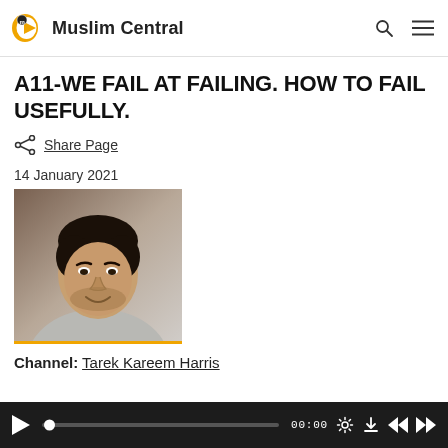Muslim Central
A11-WE FAIL AT FAILING. HOW TO FAIL USEFULLY.
Share Page
14 January 2021
[Figure (photo): Headshot photo of a young man with dark hair and light stubble, smiling slightly, wearing a light grey shirt, against a neutral background.]
Channel: Tarek Kareem Harris
[Figure (screenshot): Audio player bar with play button, progress bar with dot at start, time display 00:00, settings gear icon, download icon, rewind icon, and fast-forward icon.]